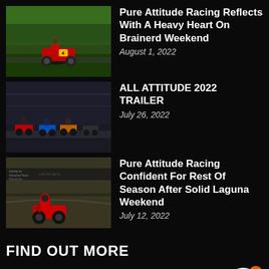[Figure (photo): Motorcycle racer in red leaning into corner on green track background]
Pure Attitude Racing Reflects With A Heavy Heart On Brainerd Weekend
August 1, 2022
[Figure (photo): Multiple motorcycle racers on track, dark background]
ALL ATTITUDE 2022 TRAILER
July 26, 2022
[Figure (photo): Red motorcycle at Laguna Seca raceway, come to WeatherTech Raceway Laguna Seca banner visible]
Pure Attitude Racing Confident For Rest Of Season After Solid Laguna Weekend
July 12, 2022
FIND OUT MORE
› About The Team
› About The Riders